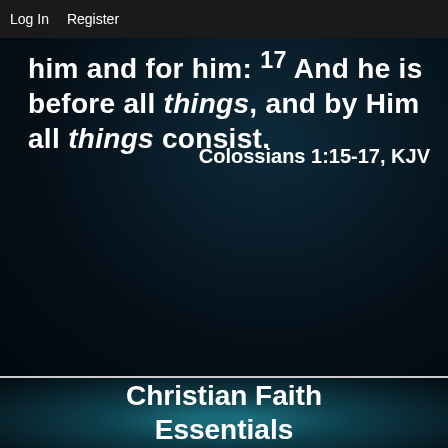Log In   Register
him and for him: 17 And he is before all things, and by Him all things consist.
Colossians 1:15-17, KJV
Christian Faith Essentials